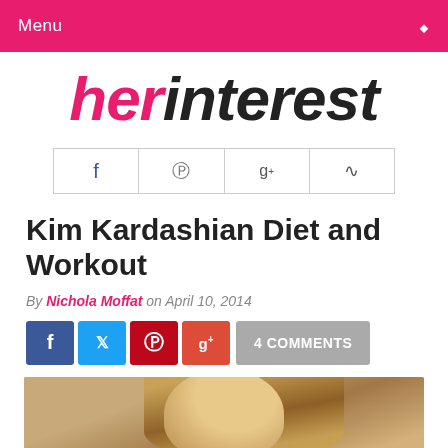Menu
[Figure (logo): herinterest logo — 'her' in pink italic bold, 'interest' in black italic bold]
[Figure (infographic): Social media icon bar with Facebook, Pinterest, Google+, RSS icons in a bordered row]
Kim Kardashian Diet and Workout
By Nichola Moffat on April 10, 2014
[Figure (infographic): Social share buttons: Facebook (blue), Twitter (light blue), Pinterest (red), Google+ (red-orange), and '4 COMMENTS' grey button]
[Figure (photo): Partial photo of a woman with long blonde hair]